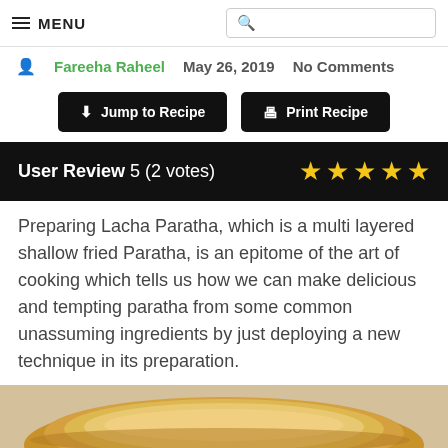MENU [search box]
Fareeha Raheel   May 26, 2019   No Comments
Jump to Recipe   Print Recipe
User Review 5 (2 votes) ★★★★★
Preparing Lacha Paratha, which is a multi layered shallow fried Paratha, is an epitome of the art of cooking which tells us how we can make delicious and tempting paratha from some common unassuming ingredients by just deploying a new technique in its preparation.
[Figure (photo): Photo of a golden-brown layered Lacha Paratha on a plate]